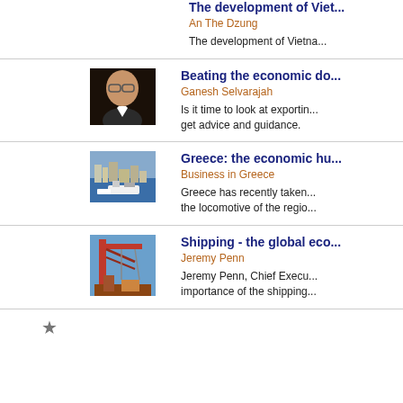The development of Viet...
An The Dzung
The development of Vietna...
[Figure (photo): Portrait photo of a man wearing glasses and a dark suit]
Beating the economic do...
Ganesh Selvarajah
Is it time to look at exportin... get advice and guidance.
[Figure (photo): Aerial photo of a harbor city with ships and blue water]
Greece: the economic hu...
Business in Greece
Greece has recently taken... the locomotive of the regio...
[Figure (photo): Industrial shipping photo with red cranes and machinery]
Shipping - the global eco...
Jeremy Penn
Jeremy Penn, Chief Execu... importance of the shipping...